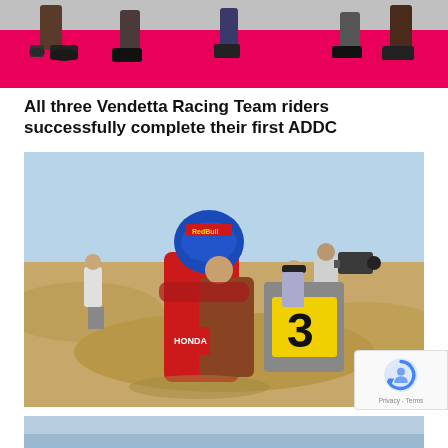[Figure (photo): Partial view of people's feet and legs on a pink/magenta surface, appears to be a fashion or event setting]
All three Vendetta Racing Team riders successfully complete their first ADDC
[Figure (photo): Desert racing scene: a rider in red racing suit and Red Bull helmet embracing someone near a motorcycle with number 3 plate, with camera crew and onlookers in sandy desert background]
Sunderland wins Abu Dhabi Desert Challenge
[Figure (photo): Bottom strip of another photo, partially visible]